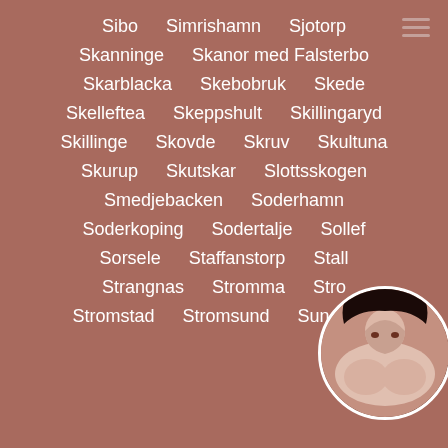Sibo
Simrishamn
Sjotorp
Skanninge
Skanor med Falsterbo
Skarblacka
Skebobruk
Skede
Skelleftea
Skeppshult
Skillingaryd
Skillinge
Skovde
Skruv
Skultuna
Skurup
Skutskar
Slottsskogen
Smedjebacken
Soderhamn
Soderkoping
Sodertalje
Solleftea
Sorsele
Staffanstorp
Stallarholmen
Strangnas
Stromma
Stromsburg
Stromstad
Stromsund
Sundsvall